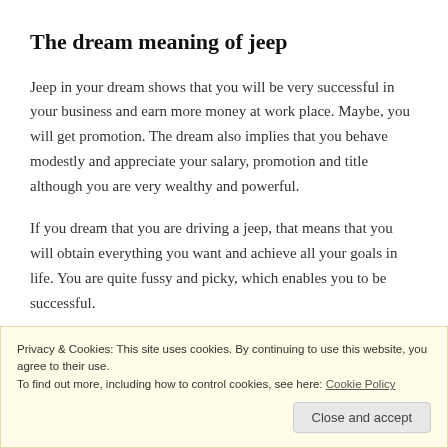The dream meaning of jeep
Jeep in your dream shows that you will be very successful in your business and earn more money at work place. Maybe, you will get promotion. The dream also implies that you behave modestly and appreciate your salary, promotion and title although you are very wealthy and powerful.
If you dream that you are driving a jeep, that means that you will obtain everything you want and achieve all your goals in life. You are quite fussy and picky, which enables you to be successful.
Privacy & Cookies: This site uses cookies. By continuing to use this website, you agree to their use. To find out more, including how to control cookies, see here: Cookie Policy Close and accept